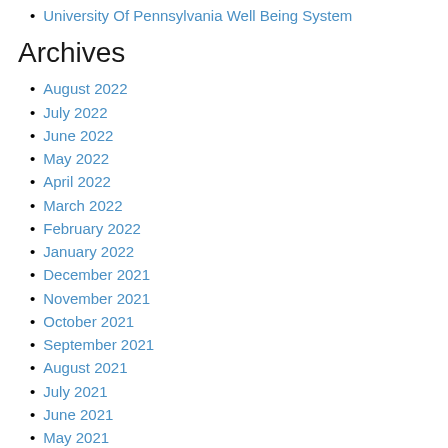University Of Pennsylvania Well Being System
Archives
August 2022
July 2022
June 2022
May 2022
April 2022
March 2022
February 2022
January 2022
December 2021
November 2021
October 2021
September 2021
August 2021
July 2021
June 2021
May 2021
February 2021
June 2020